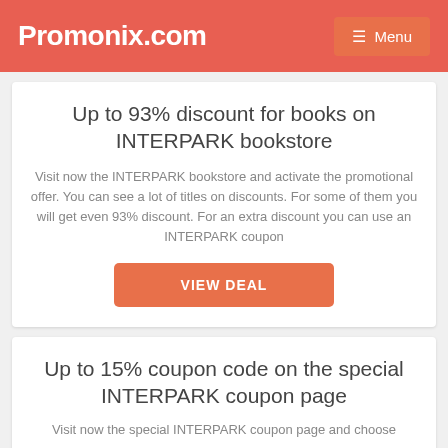Promonix.com  Menu
Up to 93% discount for books on INTERPARK bookstore
Visit now the INTERPARK bookstore and activate the promotional offer. You can see a lot of titles on discounts. For some of them you will get even 93% discount. For an extra discount you can use an INTERPARK coupon
VIEW DEAL
Up to 15% coupon code on the special INTERPARK coupon page
Visit now the special INTERPARK coupon page and choose